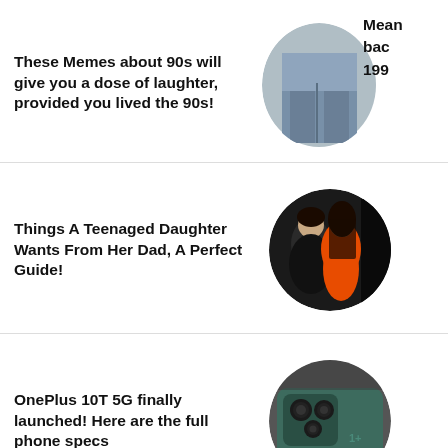These Memes about 90s will give you a dose of laughter, provided you lived the 90s!
[Figure (photo): Circular photo - partially visible, jeans/clothing detail]
Mean bac 199
Things A Teenaged Daughter Wants From Her Dad, A Perfect Guide!
[Figure (photo): Circular photo - man and woman in orange dress at an event]
OnePlus 10T 5G finally launched! Here are the full phone specs
[Figure (photo): Circular photo - green OnePlus 10T 5G smartphone]
[Figure (photo): Partially visible circular thumbnail at the bottom]